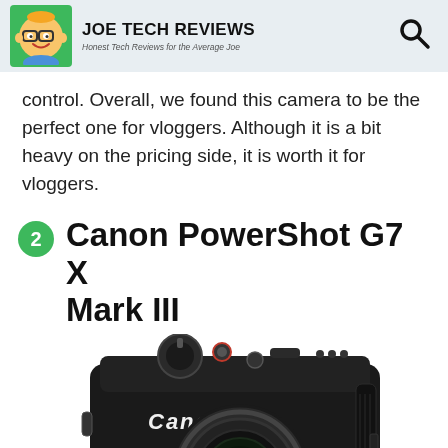JOE TECH REVIEWS — Honest Tech Reviews for the Average Joe
control. Overall, we found this camera to be the perfect one for vloggers. Although it is a bit heavy on the pricing side, it is worth it for vloggers.
2 Canon PowerShot G7 X Mark III
[Figure (photo): Canon PowerShot G7 X Mark III compact camera, black, shown from front-left angle with Canon Zoom Lens 4.2x/IS visible]